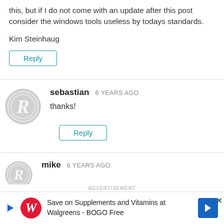this, but if I do not come with an update after this post consider the windows tools useless by todays standards.
Kim Steinhaug
Reply
sebastian  6 YEARS AGO
[Figure (illustration): Gray circular avatar with stylized letter R logo]
thanks!
Reply
mike  6 YEARS AGO
[Figure (illustration): Gray circular avatar with stylized letter R logo, partially visible]
ADVERTISEMENT
Save on Supplements and Vitamins at Walgreens - BOGO Free